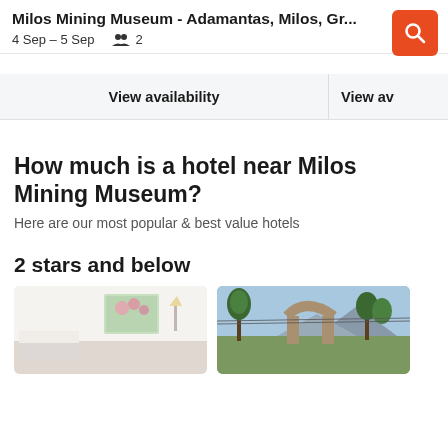Milos Mining Museum - Adamantas, Milos, Gr... | 4 Sep – 5 Sep | 2 guests
View availability
View av
How much is a hotel near Milos Mining Museum?
Here are our most popular & best value hotels
2 stars and below
[Figure (photo): Hotel room interior with white walls, window showing pink flowers outside]
[Figure (photo): Outdoor scene with stone arch structure and trees, mountains in background]